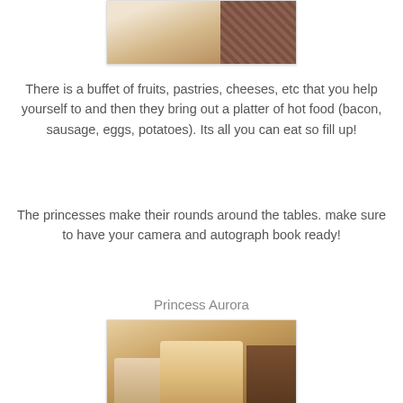[Figure (photo): Top portion of a photo showing food or decorative item on a table, partially cropped]
There is a buffet of fruits, pastries, cheeses, etc that you help yourself to and then they bring out a platter of hot food (bacon, sausage, eggs, potatoes). Its all you can eat so fill up!
The princesses make their rounds around the tables. make sure to have your camera and autograph book ready!
Princess Aurora
[Figure (photo): Photo of Princess Aurora character with a young girl at a dining table, other guests visible in background]